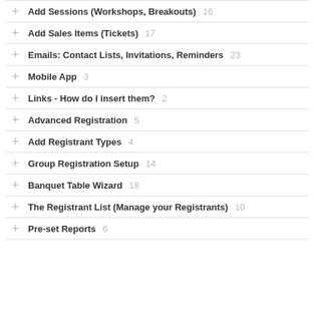Add Sessions (Workshops, Breakouts) 16
Add Sales Items (Tickets) 17
Emails: Contact Lists, Invitations, Reminders 23
Mobile App 3
Links - How do I insert them? 2
Advanced Registration 5
Add Registrant Types 4
Group Registration Setup 14
Banquet Table Wizard 18
The Registrant List (Manage your Registrants) 10
Pre-set Reports 6